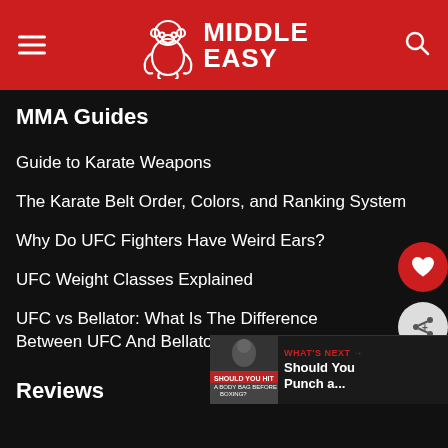MiddleEasy
MMA Guides
Guide to Karate Weapons
The Karate Belt Order, Colors, and Ranking System
Why Do UFC Fighters Have Weird Ears?
UFC Weight Classes Explained
UFC vs Bellator: What Is The Difference Between UFC And Bellator?
Reviews
WHAT'S NEXT → Should You Punch a...